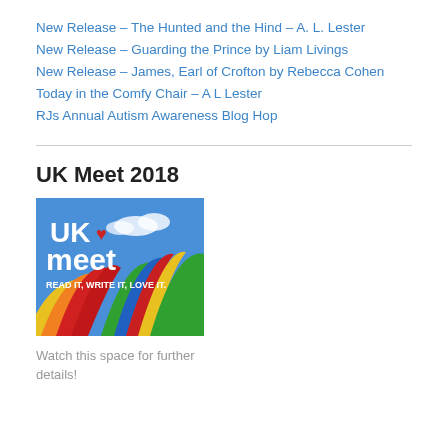New Release – The Hunted and the Hind – A. L. Lester
New Release – Guarding the Prince by Liam Livings
New Release – James, Earl of Crofton by Rebecca Cohen
Today in the Comfy Chair – A L Lester
RJs Annual Autism Awareness Blog Hop
UK Meet 2018
[Figure (illustration): UK Meet logo with colorful rainbow umbrellas, text reading UK meet READ IT, WRITE IT, LOVE IT. with a red heart.]
Watch this space for further details!